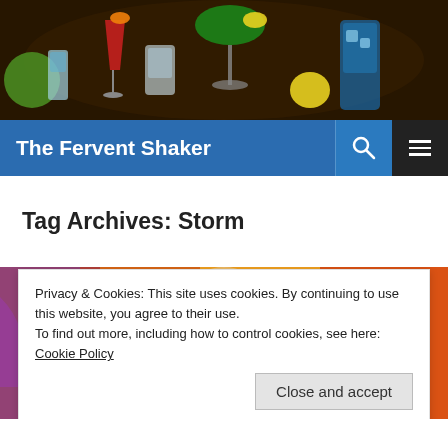[Figure (photo): Colorful cocktail drinks on a bar counter — red, white, green, yellow, blue drinks with garnishes]
The Fervent Shaker
Tag Archives: Storm
[Figure (illustration): Marvel X-Men comic art featuring female characters including Jean Grey and Storm with orange/yellow lightning background]
Privacy & Cookies: This site uses cookies. By continuing to use this website, you agree to their use.
To find out more, including how to control cookies, see here: Cookie Policy
Close and accept